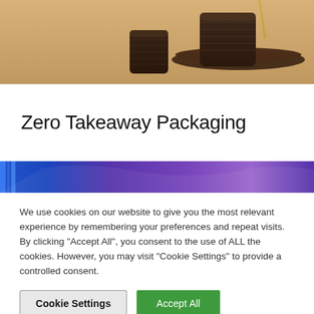[Figure (photo): Close-up photo of dark brown woven/wicker cylindrical containers and a round tray/lid on a tan/beige background, appearing to be sustainable packaging or storage items.]
Zero Takeaway Packaging
[Figure (photo): Partial banner image showing blue and purple abstract/wave design, cropped at the bottom of the visible content area.]
We use cookies on our website to give you the most relevant experience by remembering your preferences and repeat visits. By clicking “Accept All”, you consent to the use of ALL the cookies. However, you may visit “Cookie Settings” to provide a controlled consent.
Cookie Settings
Accept All